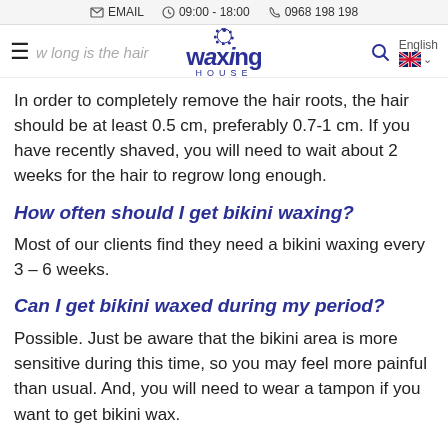EMAIL  09:00 - 18:00  0968 198 198
w long is the hair... waxing HOUSE  English
In order to completely remove the hair roots, the hair should be at least 0.5 cm, preferably 0.7-1 cm. If you have recently shaved, you will need to wait about 2 weeks for the hair to regrow long enough.
How often should I get bikini waxing?
Most of our clients find they need a bikini waxing every 3 – 6 weeks.
Can I get bikini waxed during my period?
Possible. Just be aware that the bikini area is more sensitive during this time, so you may feel more painful than usual. And, you will need to wear a tampon if you want to get bikini wax.